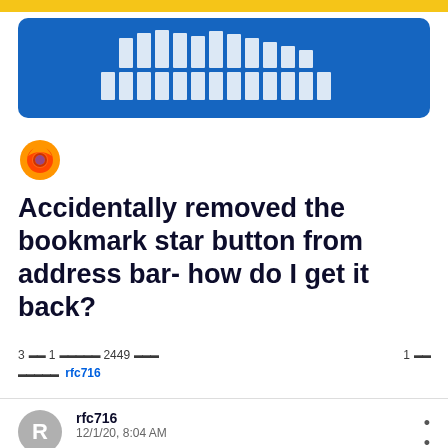[Figure (other): Yellow top bar strip]
[Figure (infographic): Blue banner advertisement with white horizontal bar pattern equalizer graphic]
[Figure (logo): Firefox browser logo icon - orange and purple flame circle]
Accidentally removed the bookmark star button from address bar- how do I get it back?
3 [squares] 1 [squares] 2449 [squares] 1 [squares]
[squares] rfc716
rfc716
12/1/20, 8:04 AM
I accidentally deleted the Blue start for favorites on the